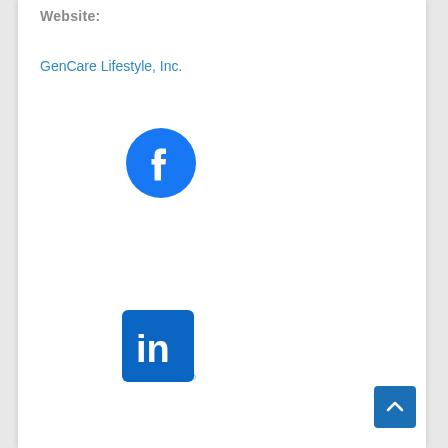Website:
GenCare Lifestyle, Inc.
[Figure (logo): Facebook logo — blue circle with white 'f' letterform]
[Figure (logo): LinkedIn logo — blue rounded square with white 'in' text]
[Figure (other): Scroll-to-top button — blue square with white upward chevron arrow, bottom right corner]